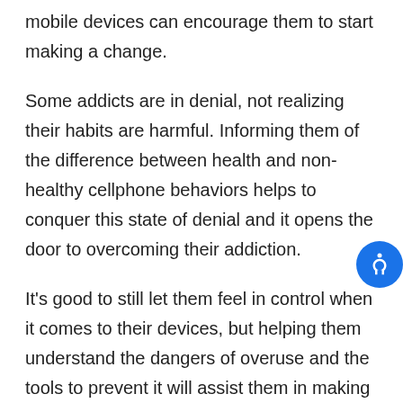mobile devices can encourage them to start making a change.
Some addicts are in denial, not realizing their habits are harmful. Informing them of the difference between health and non-healthy cellphone behaviors helps to conquer this state of denial and it opens the door to overcoming their addiction.
It's good to still let them feel in control when it comes to their devices, but helping them understand the dangers of overuse and the tools to prevent it will assist them in making the right choices.
Boundaries and Schedules